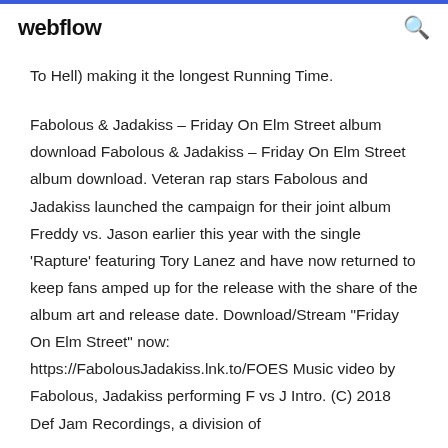webflow
To Hell) making it the longest Running Time.
Fabolous & Jadakiss – Friday On Elm Street album download Fabolous & Jadakiss – Friday On Elm Street album download. Veteran rap stars Fabolous and Jadakiss launched the campaign for their joint album Freddy vs. Jason earlier this year with the single 'Rapture' featuring Tory Lanez and have now returned to keep fans amped up for the release with the share of the album art and release date. Download/Stream "Friday On Elm Street" now: https://FabolousJadakiss.lnk.to/FOES Music video by Fabolous, Jadakiss performing F vs J Intro. (C) 2018 Def Jam Recordings, a division of